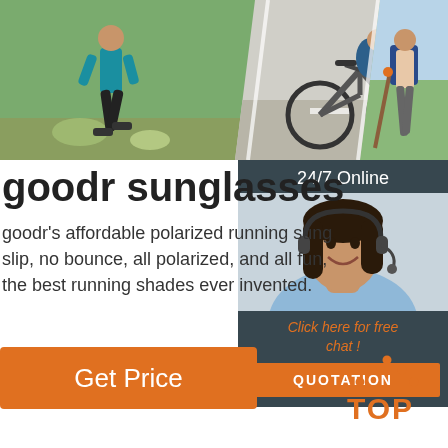[Figure (photo): Three sports photos: runner on trail, cyclist on road, hiker with backpack and trekking poles]
goodr sunglasses
goodr's affordable polarized running sung... slip, no bounce, all polarized, and all fun, the best running shades ever invented.
[Figure (photo): 24/7 Online chat widget with woman wearing headset, orange QUOTATION button, 'Click here for free chat!' text]
[Figure (illustration): Orange TOP logo with dots above letters]
Get Price